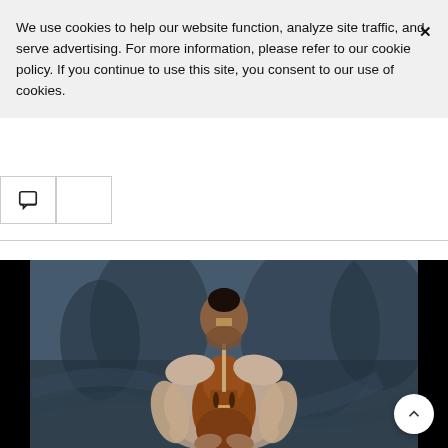We use cookies to help our website function, analyze site traffic, and serve advertising. For more information, please refer to our cookie policy. If you continue to use this site, you consent to our use of cookies.
[Figure (photo): A woman holding a violin in front of her face, with the violin's neck obscuring her eyes. She wears a light-colored dress. The background is a dark blue-grey painted backdrop with tree-like shapes.]